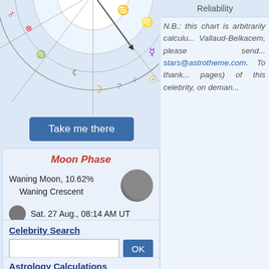[Figure (illustration): Partial astrological birth chart wheel with zodiac symbols and planet glyphs in various colors on a light blue background]
Take me there
Moon Phase
Waning Moon, 10.62%
Waning Crescent
Sat. 27 Aug., 08:14 AM UT
Celebrity Search
Astrology Calculations
Personalized Horoscope
Your Daily Horoscope
Personality
Horoscope and Ascendant
Reliability
N.B.: this chart is arbitrarily calcul... Vallaud-Belkacem, please send... stars@astrotheme.com. To thank... pages) of this celebrity, on deman...